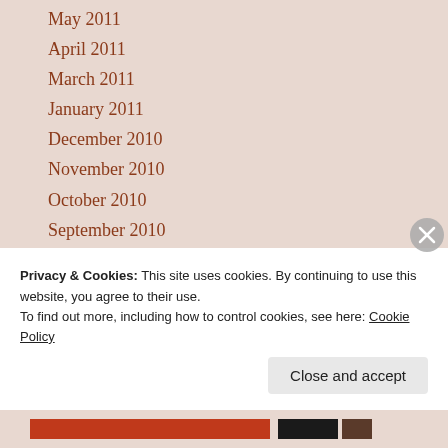May 2011
April 2011
March 2011
January 2011
December 2010
November 2010
October 2010
September 2010
August 2010
July 2010
June 2010
May 2010
April 2010
March 2010
Privacy & Cookies: This site uses cookies. By continuing to use this website, you agree to their use.
To find out more, including how to control cookies, see here: Cookie Policy
Close and accept